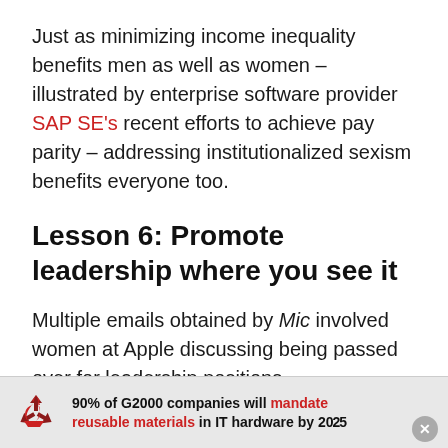Just as minimizing income inequality benefits men as well as women – illustrated by enterprise software provider SAP SE's recent efforts to achieve pay parity – addressing institutionalized sexism benefits everyone too.
Lesson 6: Promote leadership where you see it
Multiple emails obtained by Mic involved women at Apple discussing being passed over for leadership positions.
“Amanda,” who was part of this thread, told Mic she
[Figure (other): Advertisement banner showing recycling icon and text: 90% of G2000 companies will mandate reusable materials in IT hardware by 2025, with a close button]